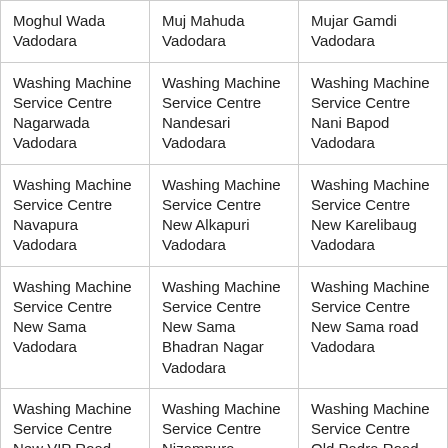| Moghul Wada Vadodara | Muj Mahuda Vadodara | Mujar Gamdi Vadodara |
| Washing Machine Service Centre Nagarwada Vadodara | Washing Machine Service Centre Nandesari Vadodara | Washing Machine Service Centre Nani Bapod Vadodara |
| Washing Machine Service Centre Navapura Vadodara | Washing Machine Service Centre New Alkapuri Vadodara | Washing Machine Service Centre New Karelibaug Vadodara |
| Washing Machine Service Centre New Sama Vadodara | Washing Machine Service Centre New Sama Bhadran Nagar Vadodara | Washing Machine Service Centre New Sama road Vadodara |
| Washing Machine Service Centre New VIP Road Vadodara | Washing Machine Service Centre Nizampura Vadodara | Washing Machine Service Centre Old Padra Road Vadodara |